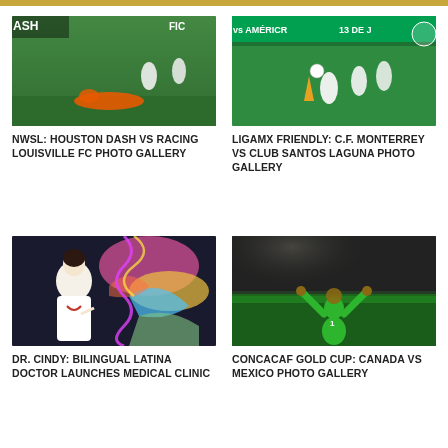[Figure (photo): Soccer players on a green field, one player in orange fallen on the ground, others in white uniforms. NWSL Houston Dash vs Racing Louisville FC match.]
NWSL: HOUSTON DASH VS RACING LOUISVILLE FC PHOTO GALLERY
[Figure (photo): Soccer players on a green field with an orange cone, players in white uniforms. LigaMX Friendly: C.F. Monterrey vs Club Santos Laguna match.]
LIGAMX FRIENDLY: C.F. MONTERREY VS CLUB SANTOS LAGUNA PHOTO GALLERY
[Figure (photo): A Latina woman in a white doctor's coat with a stethoscope, standing in front of a colorful mural with abstract art.]
DR. CINDY: BILINGUAL LATINA DOCTOR LAUNCHES MEDICAL CLINIC
[Figure (photo): A soccer goalkeeper in a green uniform celebrating with arms raised on a soccer field at night under bright stadium lights.]
CONCACAF GOLD CUP: CANADA VS MEXICO PHOTO GALLERY